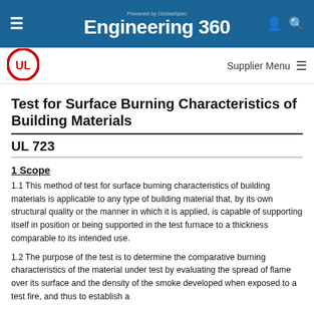Powered by GlobalSpec | Engineering 360
[Figure (logo): UL circular red and white logo]
Test for Surface Burning Characteristics of Building Materials
UL 723
1 Scope
1.1 This method of test for surface burning characteristics of building materials is applicable to any type of building material that, by its own structural quality or the manner in which it is applied, is capable of supporting itself in position or being supported in the test furnace to a thickness comparable to its intended use.
1.2 The purpose of the test is to determine the comparative burning characteristics of the material under test by evaluating the spread of flame over its surface and the density of the smoke developed when exposed to a test fire, and thus to establish a